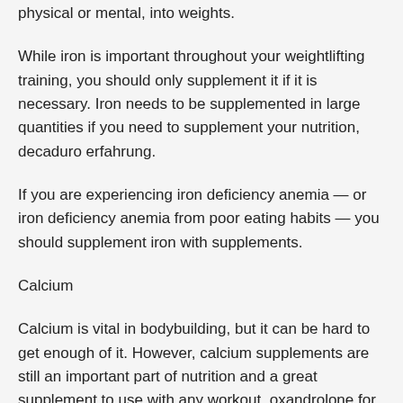physical or mental, into weights.
While iron is important throughout your weightlifting training, you should only supplement it if it is necessary. Iron needs to be supplemented in large quantities if you need to supplement your nutrition, decaduro erfahrung.
If you are experiencing iron deficiency anemia — or iron deficiency anemia from poor eating habits — you should supplement iron with supplements.
Calcium
Calcium is vital in bodybuilding, but it can be hard to get enough of it. However, calcium supplements are still an important part of nutrition and a great supplement to use with any workout, oxandrolone for sale usa.